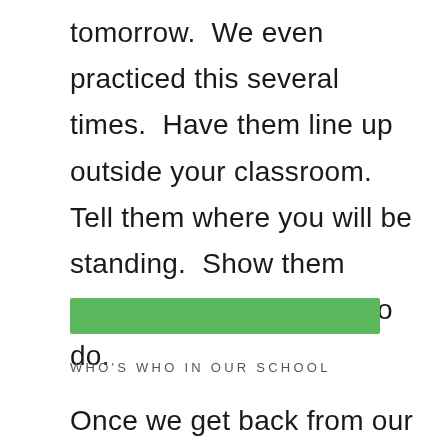tomorrow.  We even practiced this several times.  Have them line up outside your classroom.  Tell them where you will be standing.  Show them exactly what they need to do.
[Figure (other): Green horizontal bar divider]
WHO'S WHO IN OUR SCHOOL
Once we get back from our first